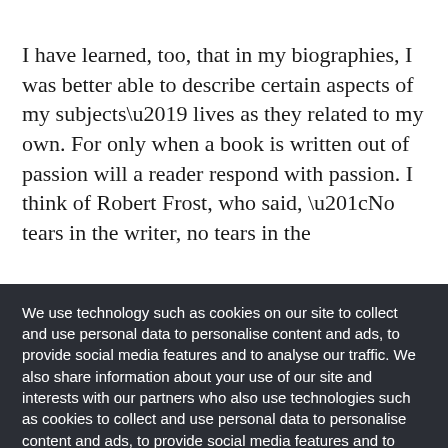I have learned, too, that in my biographies, I was better able to describe certain aspects of my subjects' lives as they related to my own. For only when a book is written out of passion will a reader respond with passion. I think of Robert Frost, who said, “No tears in the writer, no tears in the
We use technology such as cookies on our site to collect and use personal data to personalise content and ads, to provide social media features and to analyse our traffic. We also share information about your use of our site and interests with our partners who also use technologies such as cookies to collect and use personal data to personalise content and ads, to provide social media features and to analyse our traffic on our site and across the internet. You can always change your mind and revisit your choices.